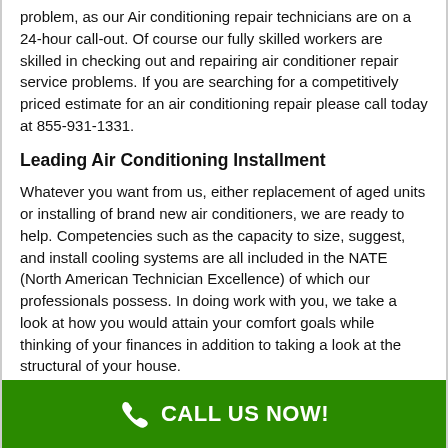problem, as our Air conditioning repair technicians are on a 24-hour call-out. Of course our fully skilled workers are skilled in checking out and repairing air conditioner repair service problems. If you are searching for a competitively priced estimate for an air conditioning repair please call today at 855-931-1331.
Leading Air Conditioning Installment
Whatever you want from us, either replacement of aged units or installing of brand new air conditioners, we are ready to help. Competencies such as the capacity to size, suggest, and install cooling systems are all included in the NATE (North American Technician Excellence) of which our professionals possess. In doing work with you, we take a look at how you would attain your comfort goals while thinking of your finances in addition to taking a look at the structural of your house.
CALL US NOW!